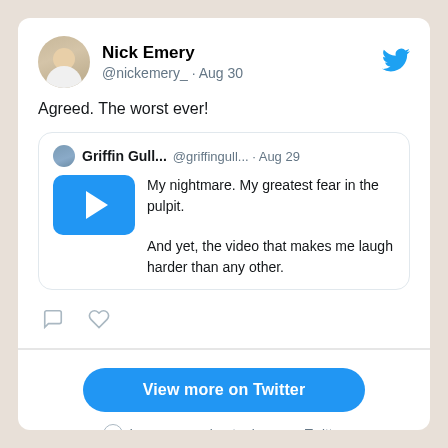Nick Emery @nickemery_ · Aug 30
Agreed. The worst ever!
Griffin Gull... @griffingull... · Aug 29 My nightmare. My greatest fear in the pulpit. And yet, the video that makes me laugh harder than any other.
View more on Twitter
Learn more about privacy on Twitter